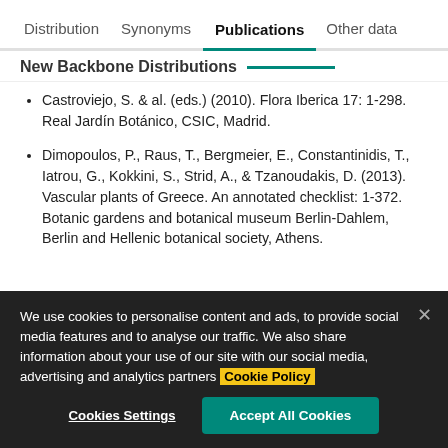Distribution | Synonyms | Publications | Other data
New Backbone Distributions
Castroviejo, S. & al. (eds.) (2010). Flora Iberica 17: 1-298. Real Jardín Botánico, CSIC, Madrid.
Dimopoulos, P., Raus, T., Bergmeier, E., Constantinidis, T., Iatrou, G., Kokkini, S., Strid, A., & Tzanoudakis, D. (2013). Vascular plants of Greece. An annotated checklist: 1-372. Botanic gardens and botanical museum Berlin-Dahlem, Berlin and Hellenic botanical society, Athens.
We use cookies to personalise content and ads, to provide social media features and to analyse our traffic. We also share information about your use of our site with our social media, advertising and analytics partners Cookie Policy
Cookies Settings | Accept All Cookies